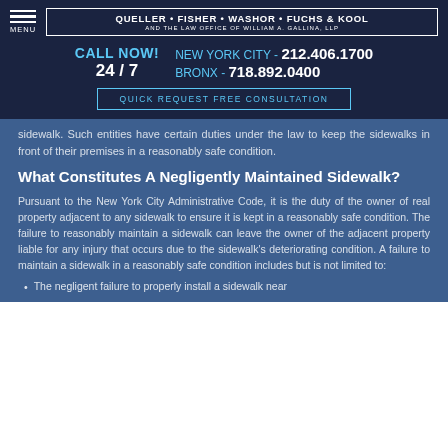MENU | QUELLER • FISHER • WASHOR • FUCHS & KOOL AND THE LAW OFFICE OF WILLIAM A. GALLINA, LLP
CALL NOW! 24 / 7 | NEW YORK CITY - 212.406.1700 | BRONX - 718.892.0400
QUICK REQUEST FREE CONSULTATION
sidewalk. Such entities have certain duties under the law to keep the sidewalks in front of their premises in a reasonably safe condition.
What Constitutes A Negligently Maintained Sidewalk?
Pursuant to the New York City Administrative Code, it is the duty of the owner of real property adjacent to any sidewalk to ensure it is kept in a reasonably safe condition. The failure to reasonably maintain a sidewalk can leave the owner of the adjacent property liable for any injury that occurs due to the sidewalk's deteriorating condition. A failure to maintain a sidewalk in a reasonably safe condition includes but is not limited to:
The negligent failure to properly install a sidewalk near